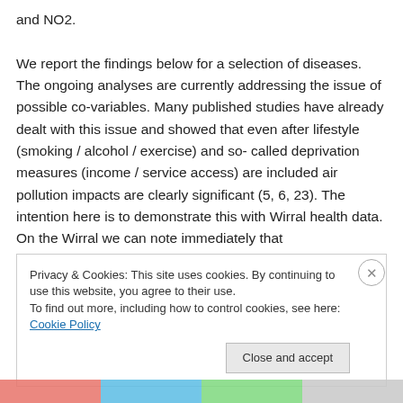and NO2. We report the findings below for a selection of diseases. The ongoing analyses are currently addressing the issue of possible co-variables. Many published studies have already dealt with this issue and showed that even after lifestyle (smoking / alcohol / exercise) and so- called deprivation measures (income / service access) are included air pollution impacts are clearly significant (5, 6, 23). The intention here is to demonstrate this with Wirral health data. On the Wirral we can note immediately that
Privacy & Cookies: This site uses cookies. By continuing to use this website, you agree to their use. To find out more, including how to control cookies, see here: Cookie Policy